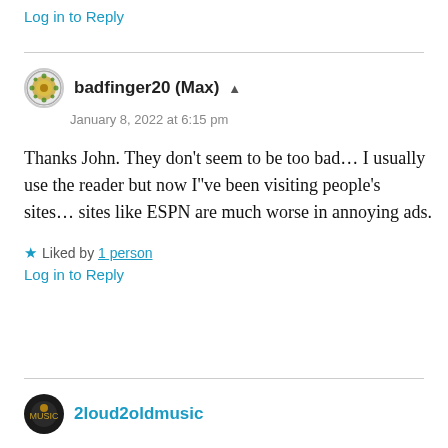Log in to Reply
badfinger20 (Max) [author icon]
January 8, 2022 at 6:15 pm
Thanks John. They don’t seem to be too bad… I usually use the reader but now I’’ve been visiting people’s sites… sites like ESPN are much worse in annoying ads.
★ Liked by 1 person
Log in to Reply
2loud2oldmusic